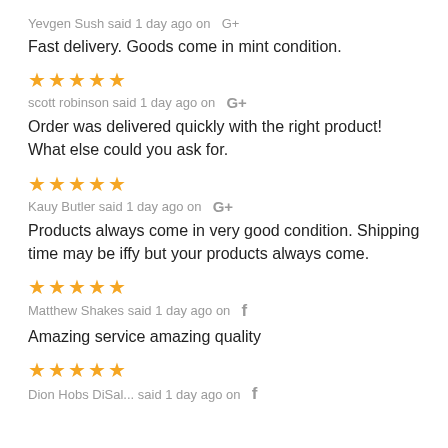Yevgen Sush said 1 day ago on G+
Fast delivery. Goods come in mint condition.
[Figure (other): 5 gold stars rating]
scott robinson said 1 day ago on G+
Order was delivered quickly with the right product! What else could you ask for.
[Figure (other): 5 gold stars rating]
Kauy Butler said 1 day ago on G+
Products always come in very good condition. Shipping time may be iffy but your products always come.
[Figure (other): 5 gold stars rating]
Matthew Shakes said 1 day ago on f
Amazing service amazing quality
[Figure (other): 5 gold stars rating]
Dion Hobs DiSal... said 1 day ago on f